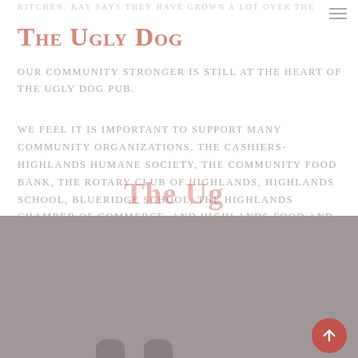KITCHEN. KAY SAYS THEY HAVE GROWN A LOT OVER THE
The Ugly Dog
OUR COMMUNITY STRONGER IS STILL AT THE HEART OF THE UGLY DOG PUB.
WE FEEL IT IS IMPORTANT TO SUPPORT MANY COMMUNITY ORGANIZATIONS. THE CASHIERS-HIGHLANDS HUMANE SOCIETY, THE COMMUNITY FOOD BANK, THE ROTARY CLUB OF HIGHLANDS, HIGHLANDS SCHOOL, BLUERIDGE SCHOOL, THE HIGHLANDS CHAMBER OF COMMERCE, AND HIGHLANDS FOOD AND WINE.
[Figure (logo): The Ugly Dog watermark logo text overlaid on the page content]
Contact Location
COZY, CLASSIC TAVERN WITH A LIVE MUSIC LINEUP & MENU OF BURGERS & PUB FOOD, PLUS SUNDAY BRUNCH.
294 S 4TH ST, HIGHLANDS, NC 28741 USA
+1 828-526-8364